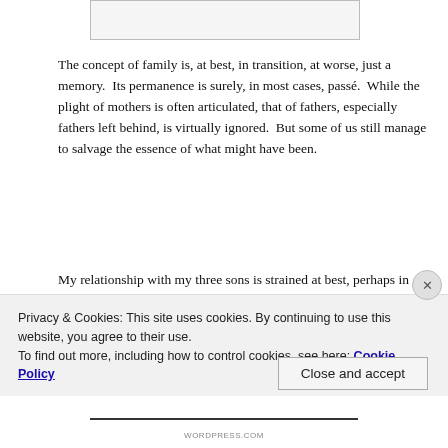[Figure (other): Top image placeholder, partially visible rectangle]
The concept of family is, at best, in transition, at worse, just a memory.  Its permanence is surely, in most cases, passé.  While the plight of mothers is often articulated, that of fathers, especially fathers left behind, is virtually ignored.  But some of us still manage to salvage the essence of what might have been.
My relationship with my three sons is strained at best, perhaps in some instances non-existent, but that is the present and recent past.  The more distant past is beautiful from my perspective, and remains, not only
Privacy & Cookies: This site uses cookies. By continuing to use this website, you agree to their use.
To find out more, including how to control cookies, see here: Cookie Policy
Close and accept